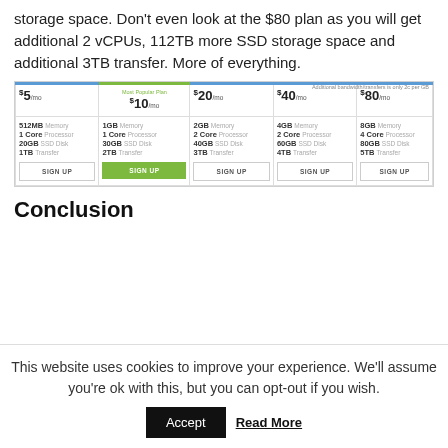storage space. Don't even look at the $80 plan as you will get additional 2 vCPUs, 112TB more SSD storage space and additional 3TB transfer. More of everything.
[Figure (infographic): Pricing plans comparison table showing 5 plans: $5/mo, $10/mo (Most Popular), $20/mo, $40/mo, $80/mo with specs and Sign Up buttons. Note: Additional bandwidth/transfers only 2c per GB.]
Conclusion
This website uses cookies to improve your experience. We'll assume you're ok with this, but you can opt-out if you wish.
Accept  Read More